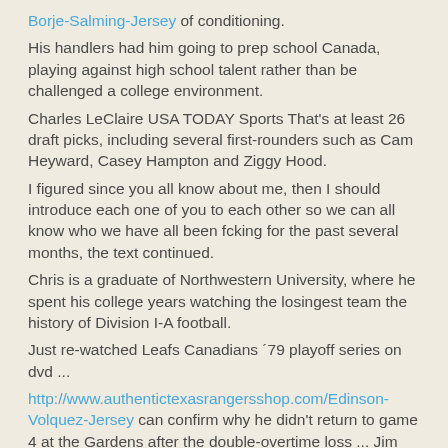Borje-Salming-Jersey of conditioning. His handlers had him going to prep school Canada, playing against high school talent rather than be challenged a college environment. Charles LeClaire USA TODAY Sports That's at least 26 draft picks, including several first-rounders such as Cam Heyward, Casey Hampton and Ziggy Hood. I figured since you all know about me, then I should introduce each one of you to each other so we can all know who we have all been fcking for the past several months, the text continued. Chris is a graduate of Northwestern University, where he spent his college years watching the losingest team the history of Division I-A football. Just re-watched Leafs Canadians '79 playoff series on dvd ... http://www.authentictexasrangersshop.com/Edinson-Volquez-Jersey can confirm why he didn't return to game 4 at the Gardens after the double-overtime loss ... Jim was on with Dave Hodge and said his arm Cheap NFL Jerseys Usa swelled to a point